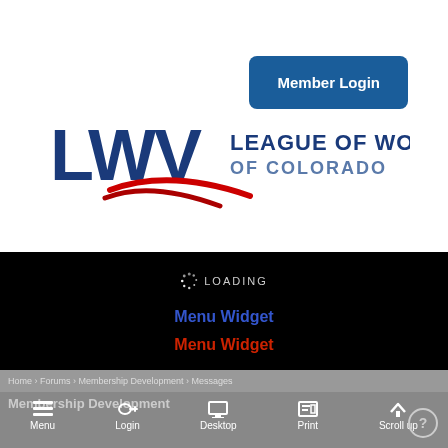[Figure (logo): League of Women Voters of Colorado logo with LWV letters in blue and red swoosh underline]
Member Login
LOADING
Menu Widget
Menu Widget
Home › Forums › Membership Development › Messages
Membership Development
Menu  Login  Desktop  Print  Scroll up